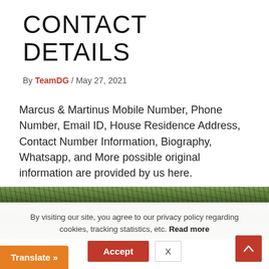CONTACT DETAILS
By TeamDG / May 27, 2021
Marcus & Martinus Mobile Number, Phone Number, Email ID, House Residence Address, Contact Number Information, Biography, Whatsapp, and More possible original information are provided by us here.
[Figure (photo): Outdoor photo strip showing trees with green foliage and branches against a bright background]
By visiting our site, you agree to our privacy policy regarding cookies, tracking statistics, etc. Read more
Accept
X
Translate »